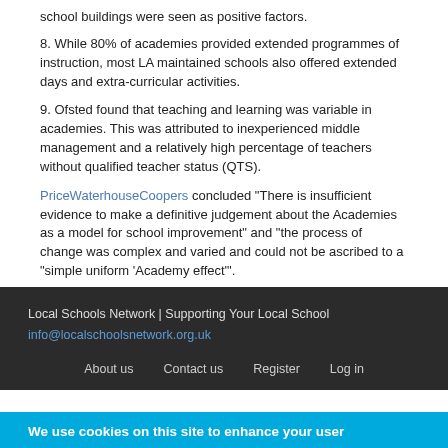school buildings were seen as positive factors.
8. While 80% of academies provided extended programmes of instruction, most LA maintained schools also offered extended days and extra-curricular activities.
9. Ofsted found that teaching and learning was variable in academies. This was attributed to inexperienced middle management and a relatively high percentage of teachers without qualified teacher status (QTS).
PriceWaterhouseCoopers concluded “There is insufficient evidence to make a definitive judgement about the Academies as a model for school improvement” and “the process of change was complex and varied and could not be ascribed to a “simple uniform ‘Academy effect’”.
Local Schools Network | Supporting Your Local School
info@localschoolsnetwork.org.uk
About us   Contact us   Register   Log in
We use cookies on this site to enhance your user experience